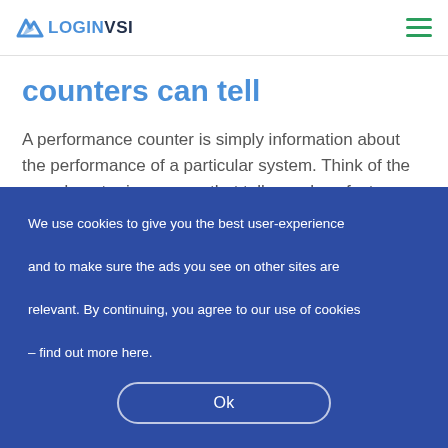LOGIN VSI
counters can tell
A performance counter is simply information about the performance of a particular system. Think of the speedometer in your car that tells you how fast you are going. Basically, as we test a system, we collect this information throughout a test to see how it changes over time and provide some insight into what may be contributing to a degradation in the user experience.
We use cookies to give you the best user-experience and to make sure the ads you see on other sites are relevant. By continuing, you agree to our use of cookies – find out more here.
Ok